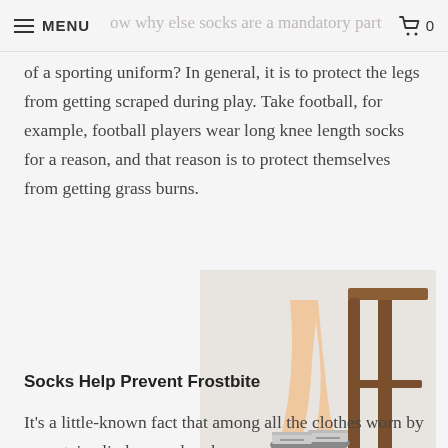MENU | 0
ow why else socks are a mandatory part of a sporting uniform? In general, it is to protect the legs from getting scraped during play. Take football, for example, football players wear long knee length socks for a reason, and that reason is to protect themselves from getting grass burns.
[Figure (photo): Person sitting on a wooden stool wearing ankle socks and shoes, legs visible from knee down, white background]
Socks Help Prevent Frostbite
It's a little-known fact that among all the clothes worn by mountain climbers and rock